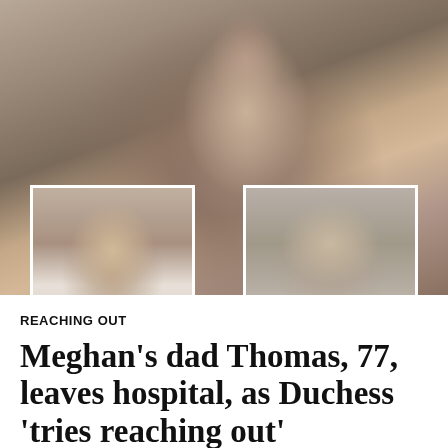[Figure (photo): Main photo of a young woman and an older man posing together, with two inset photos: one of a woman with dark hair on the left, and one of an older man with a stern expression on the right.]
REACHING OUT
Meghan's dad Thomas, 77, leaves hospital, as Duchess 'tries reaching out'